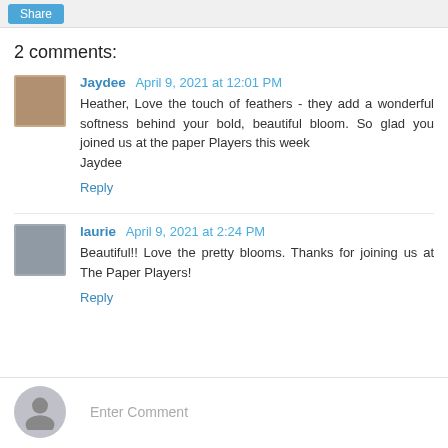Share
2 comments:
Jaydee April 9, 2021 at 12:01 PM
Heather, Love the touch of feathers - they add a wonderful softness behind your bold, beautiful bloom. So glad you joined us at the paper Players this week
Jaydee
Reply
laurie April 9, 2021 at 2:24 PM
Beautiful!! Love the pretty blooms. Thanks for joining us at The Paper Players!
Reply
Enter Comment